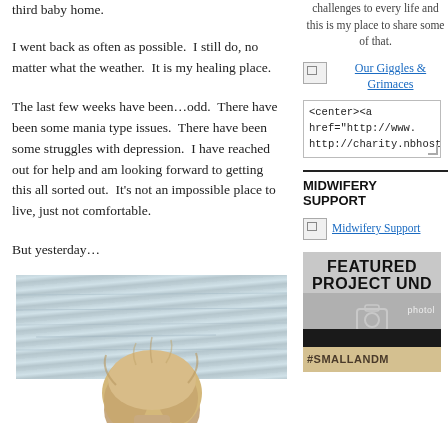third baby home.
I went back as often as possible.  I still do, no matter what the weather.  It is my healing place.
The last few weeks have been…odd.  There have been some mania type issues.  There have been some struggles with depression.  I have reached out for help and am looking forward to getting this all sorted out.  It's not an impossible place to live, just not comfortable.
But yesterday…
[Figure (photo): Person with blonde hair viewed from behind, sitting near water]
challenges to every life and this is my place to share some of that.
Our Giggles & Grimaces
<center><a href="http://www. http://charity.nbhostin
MIDWIFERY SUPPORT
Midwifery Support
FEATURED PROJECT UND #SMALLANDM